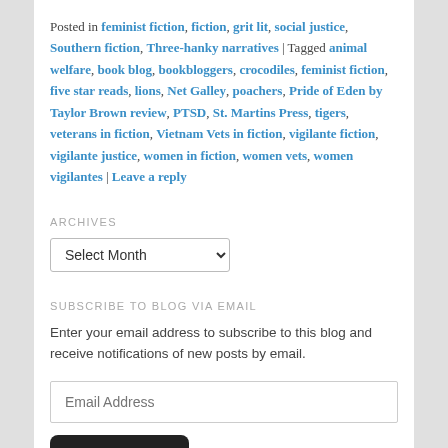Posted in feminist fiction, fiction, grit lit, social justice, Southern fiction, Three-hanky narratives | Tagged animal welfare, book blog, bookbloggers, crocodiles, feminist fiction, five star reads, lions, Net Galley, poachers, Pride of Eden by Taylor Brown review, PTSD, St. Martins Press, tigers, veterans in fiction, Vietnam Vets in fiction, vigilante fiction, vigilante justice, women in fiction, women vets, women vigilantes | Leave a reply
ARCHIVES
Select Month
SUBSCRIBE TO BLOG VIA EMAIL
Enter your email address to subscribe to this blog and receive notifications of new posts by email.
Email Address
Subscribe